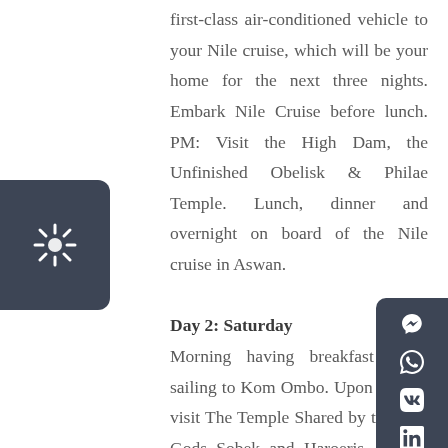first-class air-conditioned vehicle to your Nile cruise, which will be your home for the next three nights. Embark Nile Cruise before lunch. PM: Visit the High Dam, the Unfinished Obelisk & Philae Temple. Lunch, dinner and overnight on board of the Nile cruise in Aswan.
Day 2: Saturday
Morning having breakfast while sailing to Kom Ombo. Upon arrival, visit The Temple Shared by the Two Gods Sobek and Haroeris. Sail to Edfu, Lunch on board, after that visit Horus Temple at Edfu. Sail to Luxor with late arrival, Dinner and